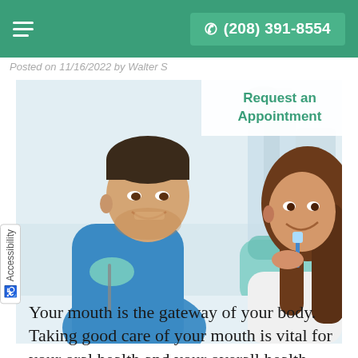☰   ✆ (208) 391-8554
Posted on 11/16/2022 by Walter S
Request an Appointment
[Figure (photo): A male dentist in blue scrubs and gloves smiling and demonstrating a dental tool, while a female patient in a dental chair smiles and holds a toothbrush in a bright dental office setting.]
Your mouth is the gateway of your body. Taking good care of your mouth is vital for your oral health and your overall health.